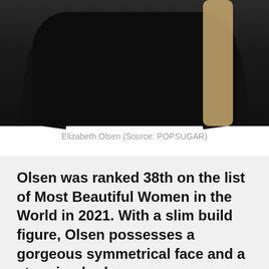[Figure (photo): Photo of Elizabeth Olsen wearing a black top, showing torso and shoulders, with blonde hair visible on the right side]
Elizabeth Olsen (Source: POPSUGAR)
Olsen was ranked 38th on the list of Most Beautiful Women in the World in 2021. With a slim build figure, Olsen possesses a gorgeous symmetrical face and a stunning body.